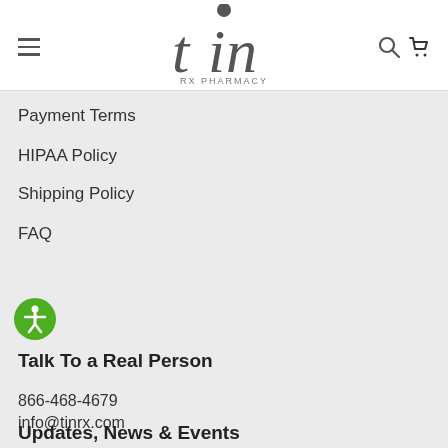[Figure (logo): TIN RX PHARMACY logo with stylized 'tin' letters and dot above the i, with 'RX PHARMACY' text below]
Payment Terms
HIPAA Policy
Shipping Policy
FAQ
[Figure (illustration): Green circular accessibility icon with white human figure with arms outstretched]
Talk To a Real Person
866-468-4679
info@tinrx.com
Updates, News & Events